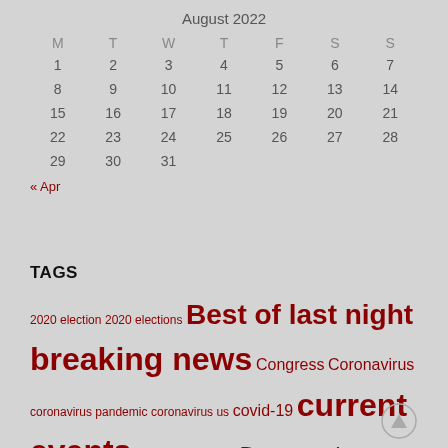August 2022
| M | T | W | T | F | S | S |
| --- | --- | --- | --- | --- | --- | --- |
| 1 | 2 | 3 | 4 | 5 | 6 | 7 |
| 8 | 9 | 10 | 11 | 12 | 13 | 14 |
| 15 | 16 | 17 | 18 | 19 | 20 | 21 |
| 22 | 23 | 24 | 25 | 26 | 27 | 28 |
| 29 | 30 | 31 |  |  |  |  |
« Apr
TAGS
2020 election 2020 elections Best of last night breaking news Congress Coronavirus coronavirus pandemic coronavirus us covid-19 current events Decision 2020 Democrats donald trump economy elections GOP health Joe Biden Joe Scarborough Mika Brezinski Mika